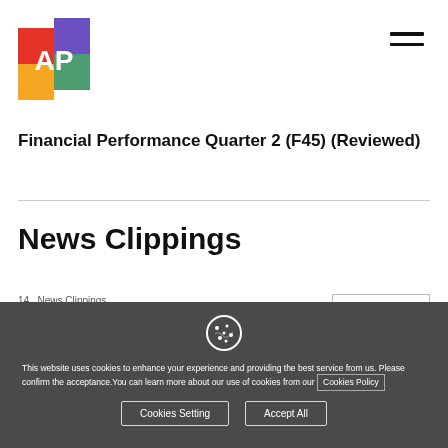[Figure (logo): AP logo — colorful squares with AP letters in white]
Financial Performance Quarter 2 (F45) (Reviewed)
News Clippings
View All →
14  News Clippings
AP sales soar 45% in H1
This website uses cookies to enhance your experience and providing the best service from us. Please confirm the acceptance. You can learn more about our use of cookies from our Cookies Policy
Cookies Setting
Accept All